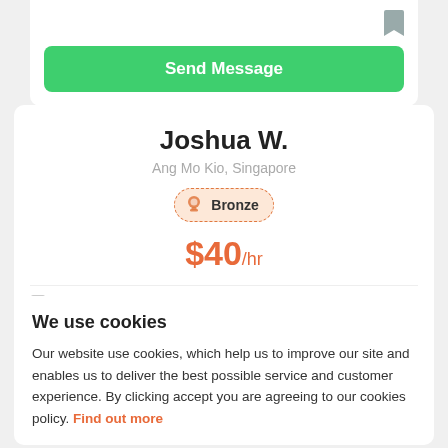[Figure (other): Green Send Message button at top of page]
Joshua W.
Ang Mo Kio, Singapore
[Figure (other): Bronze badge with award ribbon icon]
$40/hr
1 class
Chinese, Listening Comprehension, Mandarin, ...
We use cookies
Our website use cookies, which help us to improve our site and enables us to deliver the best possible service and customer experience. By clicking accept you are agreeing to our cookies policy. Find out more